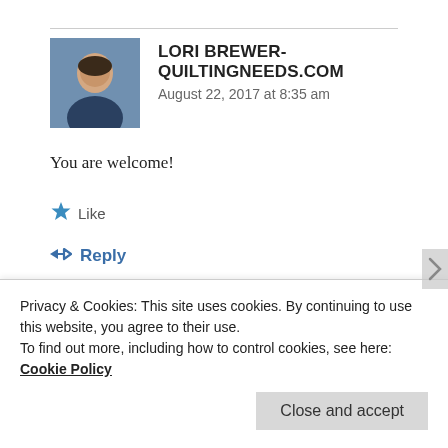LORI BREWER-QUILTINGNEEDS.COM
August 22, 2017 at 8:35 am
You are welcome!
Like
Reply
LESLEYJJACKSON
Privacy & Cookies: This site uses cookies. By continuing to use this website, you agree to their use.
To find out more, including how to control cookies, see here: Cookie Policy
Close and accept